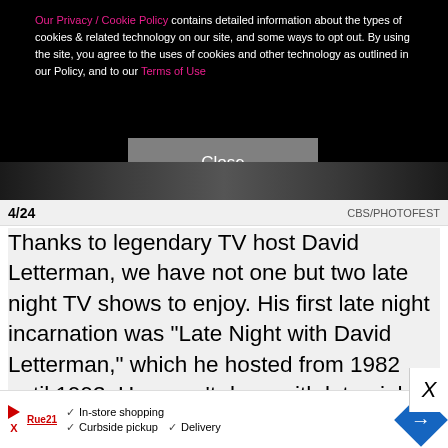Our Privacy / Cookie Policy contains detailed information about the types of cookies & related technology on our site, and some ways to opt out. By using the site, you agree to the uses of cookies and other technology as outlined in our Policy, and to our Terms of Use
Close
[Figure (photo): Partial view of a dark photo strip showing a person, likely a TV show still]
4/24   CBS/PHOTOFEST
Thanks to legendary TV host David Letterman, we have not one but two late night TV shows to enjoy. His first late night incarnation was "Late Night with David Letterman," which he hosted from 1982 until 1993. He wasn't done with late night TV after 1993, though. In fact, that very year, he launched "The Late Show with David Letterman," which ran until 2015, which is wher
[Figure (screenshot): Advertisement bar with play button logo, brand name, checkmarks for In-store shopping, Curbside pickup, Delivery, and a blue navigation diamond arrow]